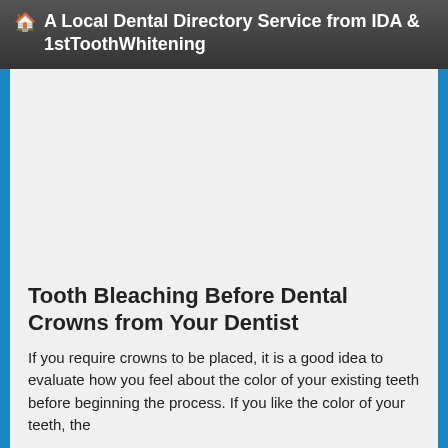🏠 A Local Dental Directory Service from IDA & 1stToothWhitening
[Figure (other): Blank/empty image placeholder area with light gray background]
Tooth Bleaching Before Dental Crowns from Your Dentist
If you require crowns to be placed, it is a good idea to evaluate how you feel about the color of your existing teeth before beginning the process. If you like the color of your teeth, the